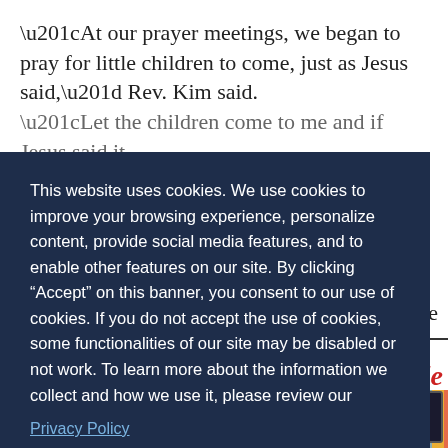“At our prayer meetings, we began to pray for little children to come, just as Jesus said,” Rev. Kim said.
This website uses cookies. We use cookies to improve your browsing experience, personalize content, provide social media features, and to enable other features on our site. By clicking “Accept” on this banner, you consent to our use of cookies. If you do not accept the use of cookies, some functionalities of our site may be disabled or not work. To learn more about the information we collect and how we use it, please review our
Privacy Policy
Decline
Accept